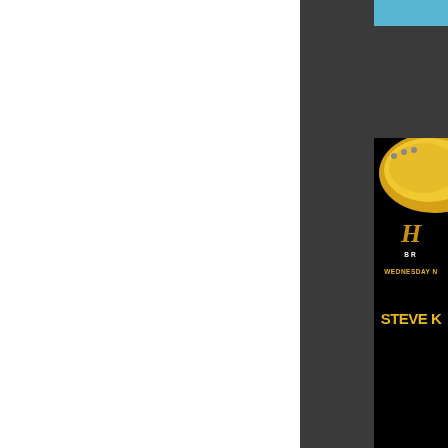[Figure (photo): Partial view of a white/left area and dark sidebar on the right showing a music event poster for Steve Koz at Pat's Pub with guitar imagery, black background with gold text 'H...', 'BR...', 'WEDNESDAY N...', 'STEVE K...' in yellow/gold bold text, and a blue information section below reading 'Steve Koz...' and 'Pat's Pub!']
Steve Koz
Pat's Pub!
January 2023